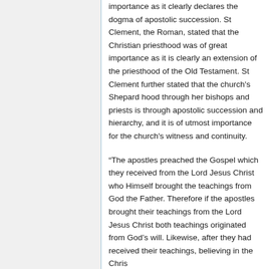importance as it clearly declares the dogma of apostolic succession. St Clement, the Roman, stated that the Christian priesthood was of great importance as it is clearly an extension of the priesthood of the Old Testament. St Clement further stated that the church's Shepard hood through her bishops and priests is through apostolic succession and hierarchy, and it is of utmost importance for the church's witness and continuity.
“The apostles preached the Gospel which they received from the Lord Jesus Christ who Himself brought the teachings from God the Father. Therefore if the apostles brought their teachings from the Lord Jesus Christ both teachings originated from God’s will. Likewise, after they had received their teachings, believing in the Christ...